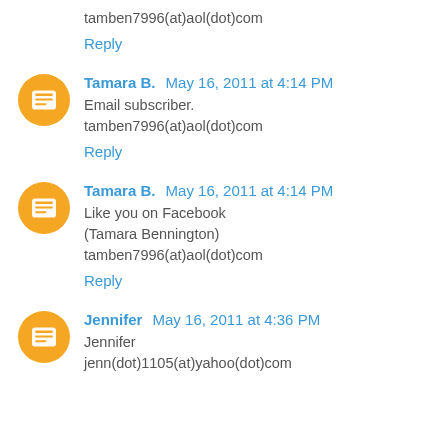tamben7996(at)aol(dot)com
Reply
Tamara B.  May 16, 2011 at 4:14 PM
Email subscriber.
tamben7996(at)aol(dot)com
Reply
Tamara B.  May 16, 2011 at 4:14 PM
Like you on Facebook
(Tamara Bennington)
tamben7996(at)aol(dot)com
Reply
Jennifer  May 16, 2011 at 4:36 PM
Jennifer
jenn(dot)1105(at)yahoo(dot)com